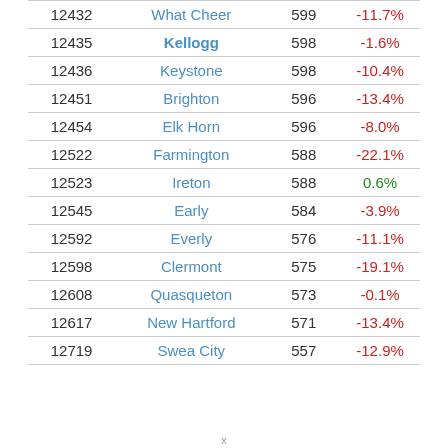|  | Name | Population | Change |
| --- | --- | --- | --- |
| 12432 | What Cheer | 599 | -11.7% |
| 12435 | Kellogg | 598 | -1.6% |
| 12436 | Keystone | 598 | -10.4% |
| 12451 | Brighton | 596 | -13.4% |
| 12454 | Elk Horn | 596 | -8.0% |
| 12522 | Farmington | 588 | -22.1% |
| 12523 | Ireton | 588 | 0.6% |
| 12545 | Early | 584 | -3.9% |
| 12592 | Everly | 576 | -11.1% |
| 12598 | Clermont | 575 | -19.1% |
| 12608 | Quasqueton | 573 | -0.1% |
| 12617 | New Hartford | 571 | -13.4% |
| 12719 | Swea City | 557 | -12.9% |
x